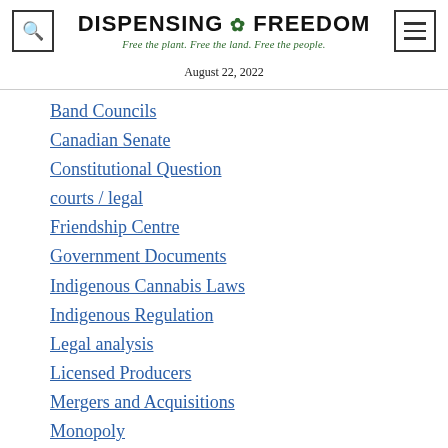DISPENSING ☘ FREEDOM — Free the plant. Free the land. Free the people.
August 22, 2022
Band Councils
Canadian Senate
Constitutional Question
courts / legal
Friendship Centre
Government Documents
Indigenous Cannabis Laws
Indigenous Regulation
Legal analysis
Licensed Producers
Mergers and Acquisitions
Monopoly